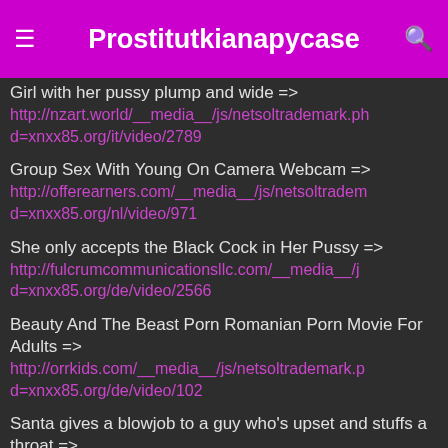Prostitutkianapycase
Girl with her pussy plump and wide => http://nzart.world/__media__/js/netsoltrademark.php?d=xnxx85.org/it/video/2789
Group Sex With Young On Camera Webcam => http://offerearners.com/__media__/js/netsoltrademark.php?d=xnxx85.org/nl/video/971
She only accepts the Black Cock in Her Pussy => http://fulcrumcommunicationsllc.com/__media__/js/netsoltrademark.php?d=xnxx85.org/de/video/2566
Beauty And The Beast Porn Romanian Porn Movie For Adults => http://orrkids.com/__media__/js/netsoltrademark.php?d=xnxx85.org/de/video/102
Santa gives a blowjob to a guy who's upset and stuffs a throat => http://www.oxan.tv/__media__/js/netsoltrademark.php?d=xnxx85.org/tr/video/1204